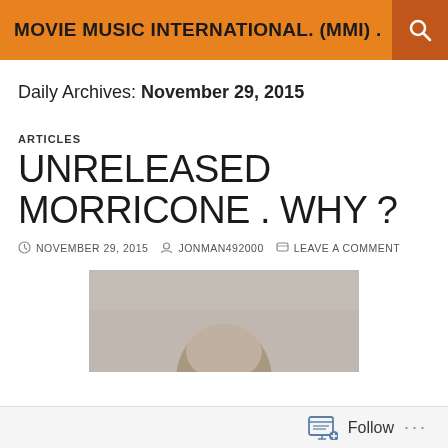MOVIE MUSIC INTERNATIONAL. (MMI) .
Daily Archives: November 29, 2015
ARTICLES
UNRELEASED MORRICONE . WHY ?
NOVEMBER 29, 2015  JONMAN492000  LEAVE A COMMENT
[Figure (photo): Partial photo of an elderly man (Ennio Morricone), showing the top of his head against a grey background.]
Follow